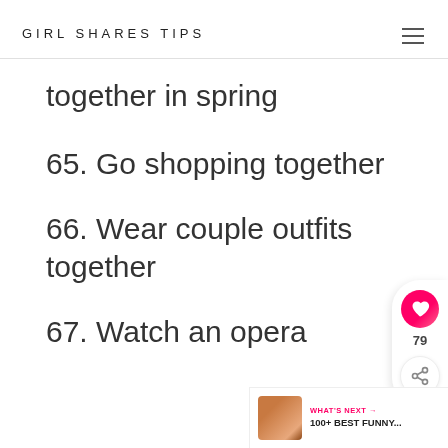GIRL SHARES TIPS
together in spring
65. Go shopping together
66. Wear couple outfits together
67. Watch an opera